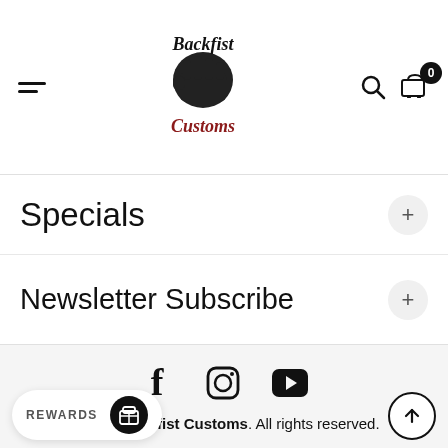Backfist Customs — site header with hamburger menu, logo, search, and cart (0 items)
Specials
Newsletter Subscribe
[Figure (logo): Social media icons: Facebook, Instagram, YouTube]
© 2022 Backfist Customs. All rights reserved.